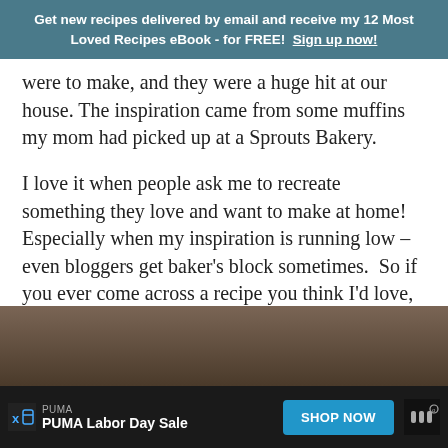Get new recipes delivered by email and receive my 12 Most Loved Recipes eBook - for FREE!  Sign up now!
were to make, and they were a huge hit at our house. The inspiration came from some muffins my mom had picked up at a Sprouts Bakery.
I love it when people ask me to recreate something they love and want to make at home!  Especially when my inspiration is running low – even bloggers get baker's block sometimes.  So if you ever come across a recipe you think I'd love, send it my way please!
[Figure (photo): Partial photo of baked goods, partially visible at bottom of page]
PUMA | PUMA Labor Day Sale | SHOP NOW